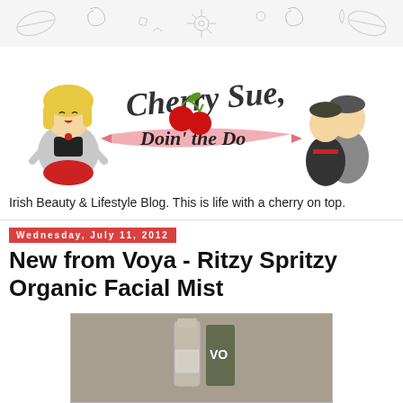[Figure (illustration): Decorative doodle pattern banner at top of page with floral and leaf motifs in light gray]
[Figure (logo): Cherry Sue, Doin' the Do blog logo with illustrated blonde woman on left, two male characters on right, cherries and cursive script in center]
Irish Beauty & Lifestyle Blog. This is life with a cherry on top.
Wednesday, July 11, 2012
New from Voya - Ritzy Spritzy Organic Facial Mist
[Figure (photo): Product photo of Voya Ritzy Spritzy Organic Facial Mist bottle on gray background]